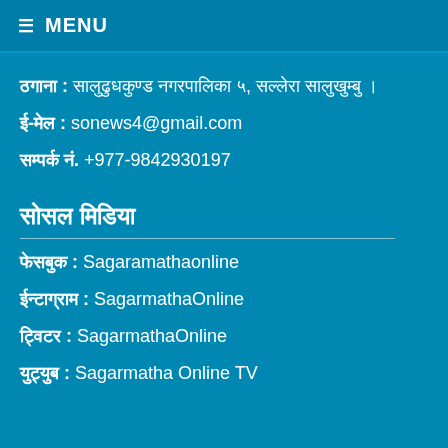≡ MENU
ठगाना :  सालुढुधकुण्ड नगरपालिका ५, सल्लेरा सालुखुम्बु ।
ई-मेल :  sonews4@gmail.com
सम्पर्क नं.  +977-9842930197
सोसल मिडिया
फेसबुक :  Sagaramathaonline
ईन्टाग्राम :  SagarmathaOnline
ट्विटर :  SagarmathaOnline
युट्युब :  Sagarmatha Online TV